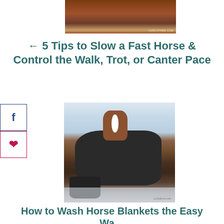[Figure (photo): Partial photo of a horse being handled, with a CURLYFARM.COM watermark in the lower right corner.]
← 5 Tips to Slow a Fast Horse & Control the Walk, Trot, or Canter Pace
[Figure (photo): A brown horse wearing a dark horse blanket standing in a snowy outdoor pen, with a black water bucket in the foreground. Watermark: curlyfarm.com]
How to Wash Horse Blankets the Easy Way